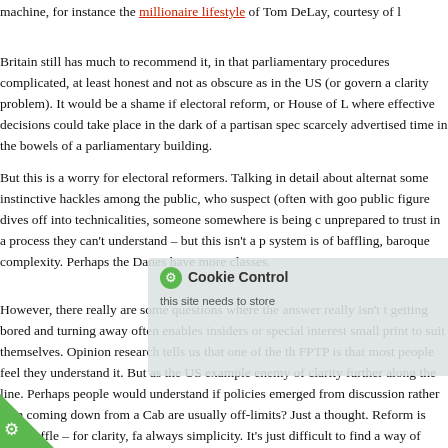machine, for instance the millionaire lifestyle of Tom DeLay, courtesy of l
Britain still has much to recommend it, in that parliamentary procedures complicated, at least honest and not as obscure as in the US (or govern a clarity problem). It would be a shame if electoral reform, or House of L where effective decisions could take place in the dark of a partisan spec scarcely advertised time in the bowels of a parliamentary building.
But this is a worry for electoral reformers. Talking in detail about alternat some instinctive hackles among the public, who suspect (often with goo public figure dives off into technicalities, someone somewhere is being c unprepared to trust in a process they can't understand – but this isn't a p system is of baffling, baroque complexity. Perhaps the Danes have more classes.
However, there really are some questions where the answer really isn't t getting bored and turning away often enables insiders or special interest small print to suit themselves. Opinion research tells us that one of the th FPTP is that most people feel they understand it. But as the US example enemy of clarity further along the line. Perhaps people would understand if policies emerged from discussion rather than coming down from a Cab are usually off-limits? Just a thought. Reform is anti-waffle – for clarity, fa always simplicity. It's just difficult to find a way of putting it. And before l
[Figure (other): Cookie Control overlay popup with green icon, title 'Cookie Control', close button X, and body text 'this site needs to store'. Green triangular corner badge with gear icon at bottom left.]